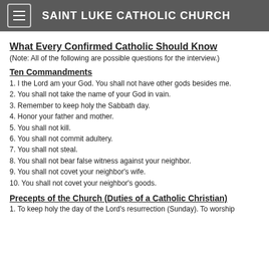SAINT LUKE CATHOLIC CHURCH
What Every Confirmed Catholic Should Know
(Note: All of the following are possible questions for the interview.)
Ten Commandments
1. I the Lord am your God. You shall not have other gods besides me.
2. You shall not take the name of your God in vain.
3. Remember to keep holy the Sabbath day.
4. Honor your father and mother.
5. You shall not kill.
6. You shall not commit adultery.
7. You shall not steal.
8. You shall not bear false witness against your neighbor.
9. You shall not covet your neighbor's wife.
10. You shall not covet your neighbor's goods.
Precepts of the Church (Duties of a Catholic Christian)
1. To keep holy the day of the Lord's resurrection (Sunday). To worship